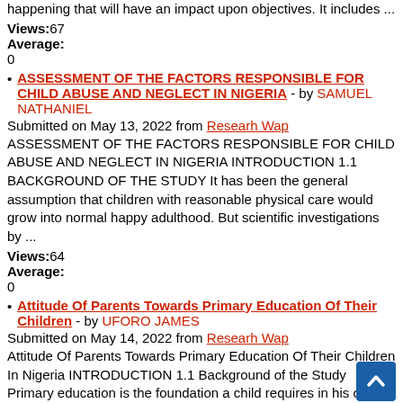happening that will have an impact upon objectives. It includes ...
Views:67
Average:
0
ASSESSMENT OF THE FACTORS RESPONSIBLE FOR CHILD ABUSE AND NEGLECT IN NIGERIA - by SAMUEL NATHANIEL
Submitted on May 13, 2022 from Researh Wap
ASSESSMENT OF THE FACTORS RESPONSIBLE FOR CHILD ABUSE AND NEGLECT IN NIGERIA INTRODUCTION 1.1 BACKGROUND OF THE STUDY It has been the general assumption that children with reasonable physical care would grow into normal happy adulthood. But scientific investigations by ...
Views:64
Average:
0
Attitude Of Parents Towards Primary Education Of Their Children - by UFORO JAMES
Submitted on May 14, 2022 from Researh Wap
Attitude Of Parents Towards Primary Education Of Their Children In Nigeria INTRODUCTION 1.1 Background of the Study Primary education is the foundation a child requires in his or her educational pursuit. The quality of primary education a child gets would determine his performance in a ...
Views:46
Average:
0
BOOK KEEPING AND ACCOUNTING PRACTICES IN SMALL...